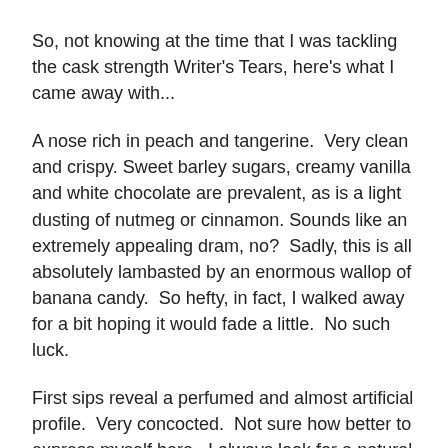So, not knowing at the time that I was tackling the cask strength Writer's Tears, here's what I came away with...
A nose rich in peach and tangerine.  Very clean and crispy.  Sweet barley sugars, creamy vanilla and white chocolate are prevalent, as is a light dusting of nutmeg or cinnamon.  Sounds like an extremely appealing dram, no?  Sadly, this is all absolutely lambasted by an enormous wallop of banana candy.  So hefty, in fact, I walked away for a bit hoping it would fade a little.  No such luck.
First sips reveal a perfumed and almost artificial profile.  Very concocted.  Not sure how better to express myself here.  I always look for a natural integration of spirit and oak.  It should seem completely harmonious.  As if the two had been waiting for each other.  In this case it almost feels like something disingenuous has taken place.  Like I'm being duped.  It seems a bit like one of those sets where the